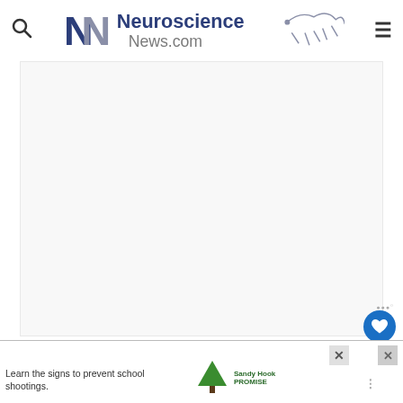Neuroscience News.com
[Figure (other): Advertisement banner area (white/blank rectangle)]
This information has significant implications for HIV cure strategies, as such strategies need to be re
[Figure (other): Bottom banner advertisement: Sandy Hook Promise - Learn the signs to prevent school shootings.]